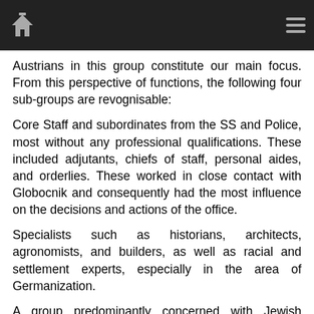[Navigation bar with home icon and menu icon]
Austrians in this group constitute our main focus. From this perspective of functions, the following four sub-groups are revognisable:
Core Staff and subordinates from the SS and Police, most without any professional qualifications. These included adjutants, chiefs of staff, personal aides, and orderlies. These worked in close contact with Globocnik and consequently had the most influence on the decisions and actions of the office.
Specialists such as historians, architects, agronomists, and builders, as well as racial and settlement experts, especially in the area of Germanization.
A group predominantly concerned with Jewish affairs, from basic Judenreferenten all the way up to the Aktion Reinhardt Office. Some of these were simply redeployment's within the SSPF Office.
Secretaries, drivers, interpreters, and the like,